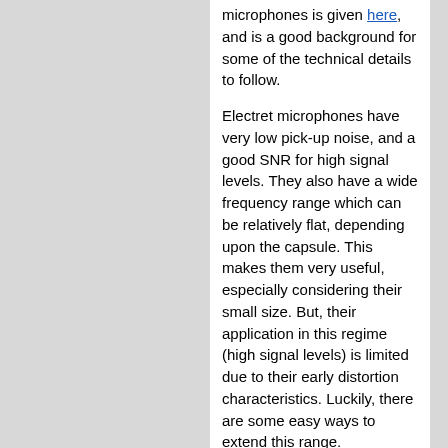microphones is given here, and is a good background for some of the technical details to follow.
Electret microphones have very low pick-up noise, and a good SNR for high signal levels. They also have a wide frequency range which can be relatively flat, depending upon the capsule. This makes them very useful, especially considering their small size. But, their application in this regime (high signal levels) is limited due to their early distortion characteristics. Luckily, there are some easy ways to extend this range.
There are 3 main sources of distortion in an electret microphone application. The first is non-linear flexure of the electret diaphragm. This is impossible to change for a particular element without attenuating the sound waves before they hit the diaphragm. Fortunately, this distortion is